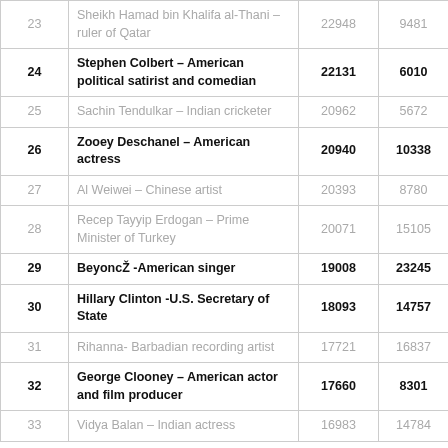| # | Name | Col3 | Col4 |
| --- | --- | --- | --- |
| 23 | Sheikh Hamad bin Khalifa al-Thani – ruler of Qatar | 22948 | 9481 |
| 24 | Stephen Colbert – American political satirist and comedian | 22131 | 6010 |
| 25 | Sachin Tendulkar – Indian cricketer | 20962 | 5672 |
| 26 | Zooey Deschanel – American actress | 20940 | 10338 |
| 27 | Al Weiwei – Chinese artist | 20393 | 8780 |
| 28 | Recep Tayyip Erdogan – Prime Minister of Turkey | 20071 | 15105 |
| 29 | BeyoncŽ -American singer | 19008 | 23245 |
| 30 | Hillary Clinton -U.S. Secretary of State | 18093 | 14757 |
| 31 | Rihanna- Barbadian recording artist | 17721 | 16837 |
| 32 | George Clooney – American actor and film producer | 17660 | 8301 |
| 33 | Vidya Balan – Indian actress | 16983 | 14784 |